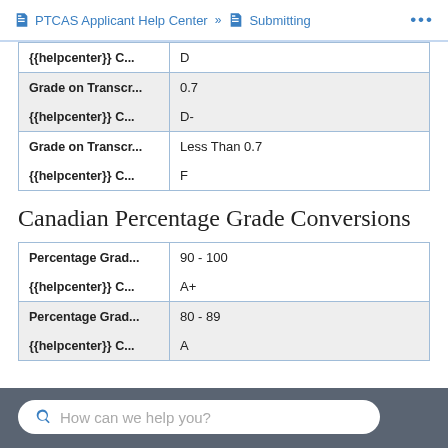PTCAS Applicant Help Center » Submitting ...
| {{helpcenter}} C... | D |
| Grade on Transcr... | 0.7 |
| {{helpcenter}} C... | D- |
| Grade on Transcr... | Less Than 0.7 |
| {{helpcenter}} C... | F |
Canadian Percentage Grade Conversions
| Percentage Grad... | 90 - 100 |
| {{helpcenter}} C... | A+ |
| Percentage Grad... | 80 - 89 |
| {{helpcenter}} C... | A |
How can we help you?